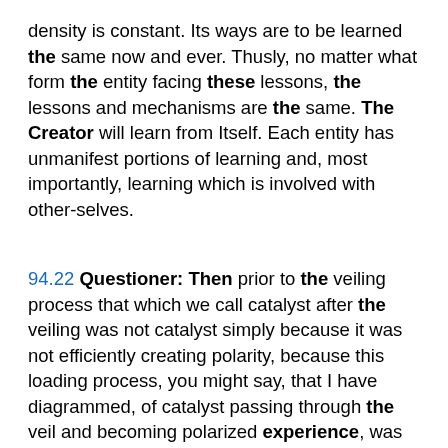density is constant. Its ways are to be learned the same now and ever. Thusly, no matter what form the entity facing these lessons, the lessons and mechanisms are the same. The Creator will learn from Itself. Each entity has unmanifest portions of learning and, most importantly, learning which is involved with other-selves.
94.22 Questioner: Then prior to the veiling process that which we call catalyst after the veiling was not catalyst simply because it was not efficiently creating polarity, because this loading process, you might say, that I have diagrammed, of catalyst passing through the veil and becoming polarized experience, was not in effect because the viewing of what we call catalyst by the entity was seen much more clearly as simply an experience of the One Creator and not something that was a function of other mind/body/spirit complexes. Would Ra comment on